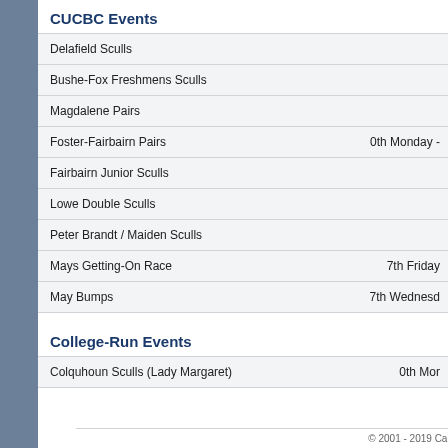CUCBC Events
| Event | Date |
| --- | --- |
| Delafield Sculls |  |
| Bushe-Fox Freshmens Sculls |  |
| Magdalene Pairs |  |
| Foster-Fairbairn Pairs | 0th Monday - |
| Fairbairn Junior Sculls |  |
| Lowe Double Sculls |  |
| Peter Brandt / Maiden Sculls |  |
| Mays Getting-On Race | 7th Friday |
| May Bumps | 7th Wednesday |
College-Run Events
| Event | Date |
| --- | --- |
| Colquhoun Sculls (Lady Margaret) | 0th Mon |
© 2001 - 2019 Cambridg